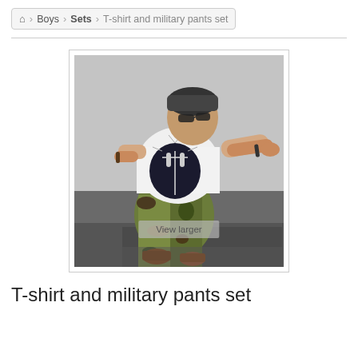🏠 > Boys > Sets > T-shirt and military pants set
[Figure (photo): A young toddler boy posing outdoors wearing a white T-shirt with a rock hand sign graphic on a dark oval background, camouflage cargo pants, and brown boots. He is wearing round sunglasses and a bracelet, with one arm extended. A 'View larger' overlay button appears at the bottom of the image.]
T-shirt and military pants set